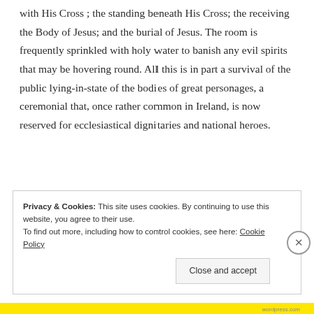with His Cross ; the standing beneath His Cross; the receiving the Body of Jesus; and the burial of Jesus. The room is frequently sprinkled with holy water to banish any evil spirits that may be hovering round. All this is in part a survival of the public lying-in-state of the bodies of great personages, a ceremonial that, once rather common in Ireland, is now reserved for ecclesiastical dignitaries and national heroes.
Privacy & Cookies: This site uses cookies. By continuing to use this website, you agree to their use.
To find out more, including how to control cookies, see here: Cookie Policy
Close and accept